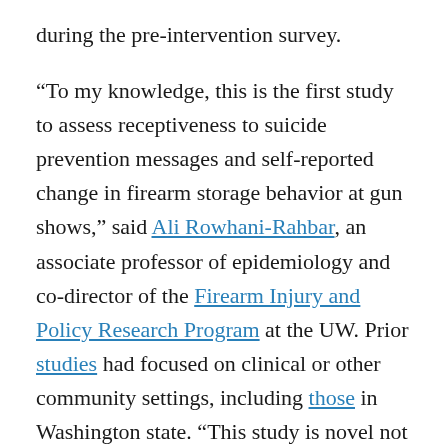during the pre-intervention survey.
“To my knowledge, this is the first study to assess receptiveness to suicide prevention messages and self-reported change in firearm storage behavior at gun shows,” said Ali Rowhani-Rahbar, an associate professor of epidemiology and co-director of the Firearm Injury and Policy Research Program at the UW. Prior studies had focused on clinical or other community settings, including those in Washington state. “This study is novel not only due to its outreach to participants in gun shows, but also because of its empathetic approach to engage them in conversations about suicide prevention. It can serve as a model for other regions of the country to use similar approaches and broaden the